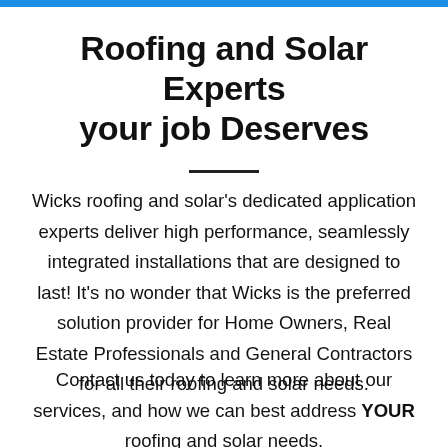Roofing and Solar Experts your job Deserves
Wicks roofing and solar's dedicated application experts deliver high performance, seamlessly integrated installations that are designed to last! It's no wonder that Wicks is the preferred solution provider for Home Owners, Real Estate Professionals and General Contractors for all their roofing and solar needs.
Contact us today to learn more about our services, and how we can best address YOUR roofing and solar needs.